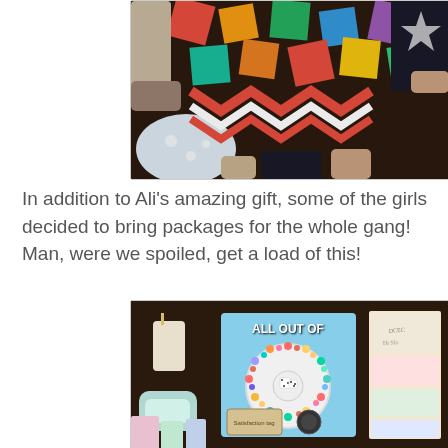[Figure (photo): Overhead view of people sitting around a colorful patchwork quilt, showing their feet and legs, with quilted pattern visible in multiple bright colors]
In addition to Ali's amazing gift, some of the girls decided to bring packages for the whole gang!  Man, were we spoiled, get a load of this!
[Figure (photo): Flat lay photo on dark wood surface showing sewing/quilting gifts: a board game or spinner labeled 'ALL OUT OF', a candle, colorful pins in a circular arrangement, fabric pieces, soap, and other sewing notions]